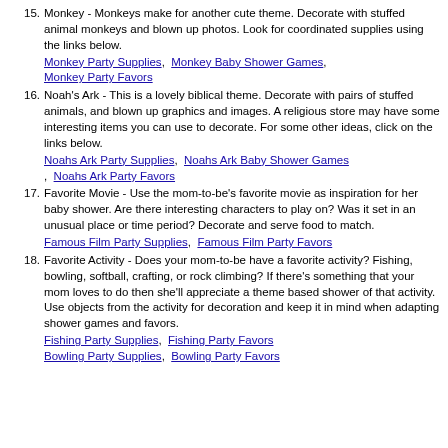15. Monkey - Monkeys make for another cute theme. Decorate with stuffed animal monkeys and blown up photos. Look for coordinated supplies using the links below. Monkey Party Supplies, Monkey Baby Shower Games, Monkey Party Favors
16. Noah's Ark - This is a lovely biblical theme. Decorate with pairs of stuffed animals, and blown up graphics and images. A religious store may have some interesting items you can use to decorate. For some other ideas, click on the links below. Noahs Ark Party Supplies, Noahs Ark Baby Shower Games, Noahs Ark Party Favors
17. Favorite Movie - Use the mom-to-be's favorite movie as inspiration for her baby shower. Are there interesting characters to play on? Was it set in an unusual place or time period? Decorate and serve food to match. Famous Film Party Supplies, Famous Film Party Favors
18. Favorite Activity - Does your mom-to-be have a favorite activity? Fishing, bowling, softball, crafting, or rock climbing? If there's something that your mom loves to do then she'll appreciate a theme based shower of that activity. Use objects from the activity for decoration and keep it in mind when adapting shower games and favors. Fishing Party Supplies, Fishing Party Favors, Bowling Party Supplies, Bowling Party Favors